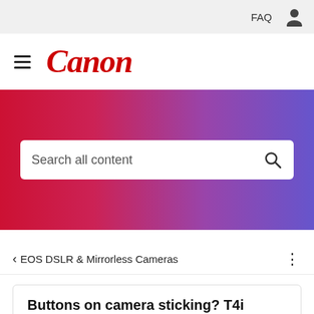FAQ
[Figure (logo): Canon brand logo in red italic serif font with hamburger menu icon]
[Figure (screenshot): Red to purple gradient banner with white search box containing text 'Search all content' and a search magnifier icon]
< EOS DSLR & Mirrorless Cameras
Buttons on camera sticking? T4i